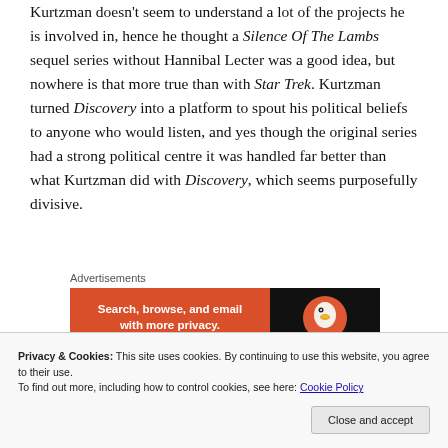Kurtzman doesn't seem to understand a lot of the projects he is involved in, hence he thought a Silence Of The Lambs sequel series without Hannibal Lecter was a good idea, but nowhere is that more true than with Star Trek. Kurtzman turned Discovery into a platform to spout his political beliefs to anyone who would listen, and yes though the original series had a strong political centre it was handled far better than what Kurtzman did with Discovery, which seems purposefully divisive.
[Figure (other): DuckDuckGo advertisement banner: 'Search, browse, and email with more privacy.' with DuckDuckGo logo on dark background. Labeled 'Advertisements' above.]
Privacy & Cookies: This site uses cookies. By continuing to use this website, you agree to their use. To find out more, including how to control cookies, see here: Cookie Policy
became clear that it was only created as a means for